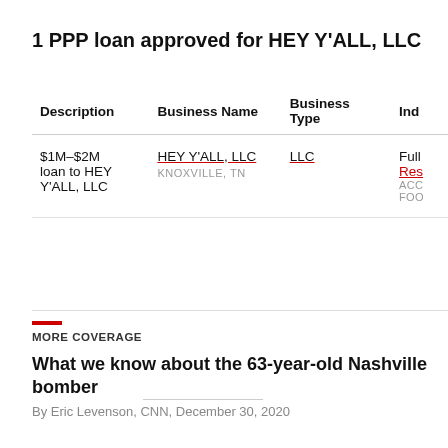1 PPP loan approved for HEY Y'ALL, LLC
| Description | Business Name | Business Type | Ind |
| --- | --- | --- | --- |
| $1M–$2M loan to HEY Y'ALL, LLC | HEY Y'ALL, LLC
KNOXVILLE, TN | LLC | Full
Res
ACC
FOO |
MORE COVERAGE
What we know about the 63-year-old Nashville bomber
By Eric Levenson, CNN, December 30, 2020